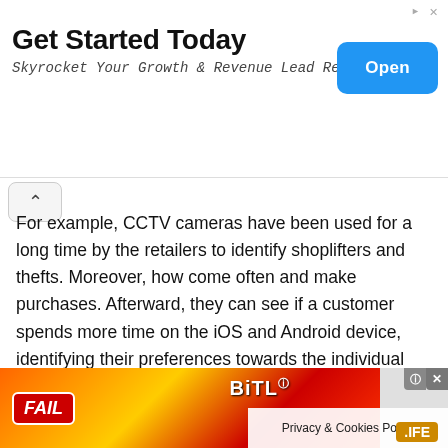[Figure (screenshot): Advertisement banner with title 'Get Started Today', subtitle 'Skyrocket Your Growth & Revenue Lead Revenue', and a blue 'Open' button on the right.]
For example, CCTV cameras have been used for a long time by the retailers to identify shoplifters and thefts. Moreover, how come often and make purchases. Afterward, they can see if a customer spends more time on the iOS and Android device, identifying their preferences towards the individual products. Later on, a retailer can provide special offers to the specific customer on products that they prefer more.
32. Build an 'assortment
[Figure (screenshot): Bottom advertisement banner for BitLife game with 'FAIL' badge, cartoon character, and Privacy & Cookies Policy overlay.]